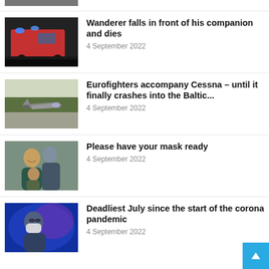[Figure (photo): Partial view of a photo at top of page (cropped)]
Wanderer falls in front of his companion and dies
4 September 2022
[Figure (photo): Photo of a red German ambulance with blue flashing lights driving at night]
Eurofighters accompany Cessna – until it finally crashes into the Baltic...
4 September 2022
[Figure (photo): Photo of a Eurofighter jet on a runway with trees in background]
Please have your mask ready
4 September 2022
[Figure (photo): Photo of a woman and man hugging a child, smiling]
Deadliest July since the start of the corona pandemic
4 September 2022
[Figure (photo): Photo of person in blue light wearing a face mask]